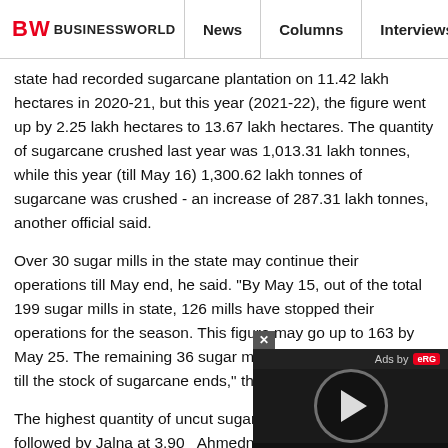BW BUSINESSWORLD | News | Columns | Interviews | BW
state had recorded sugarcane plantation on 11.42 lakh hectares in 2020-21, but this year (2021-22), the figure went up by 2.25 lakh hectares to 13.67 lakh hectares. The quantity of sugarcane crushed last year was 1,013.31 lakh tonnes, while this year (till May 16) 1,300.62 lakh tonnes of sugarcane was crushed - an increase of 287.31 lakh tonnes, another official said.
Over 30 sugar mills in the state may continue their operations till May end, he said. "By May 15, out of the total 199 sugar mills in state, 126 mills have stopped their operations for the season. This figure may go up to 163 by May 25. The remaining 36 sugar mills may continue to work till the stock of sugarcane ends," the official said.
The highest quantity of uncut sugarcane t... at 4 lakh tonnes, followed by Jalna at 3.90... Ahmednagar 3 lakh tonnes, Latur 2.42 lak... Osmanabad 2.38 lakh tonnes, Satara 1 la... 63,000 tonnes, Nandurbar and Aurangabad... each and Parbhani 30,000 tonnes each, the official said,